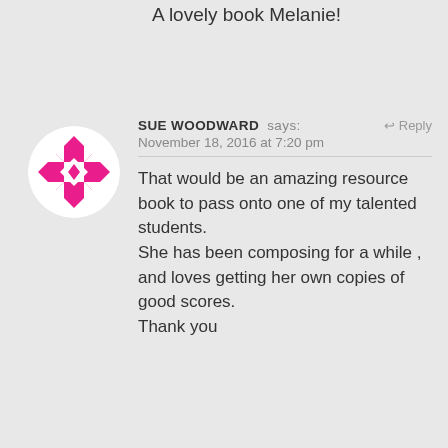A lovely book Melanie!
[Figure (illustration): Circular avatar with pink/magenta geometric quilt-like pattern on white background]
SUE WOODWARD says:
November 18, 2016 at 7:20 pm
That would be an amazing resource book to pass onto one of my talented students.
She has been composing for a while , and loves getting her own copies of good scores.
Thank you